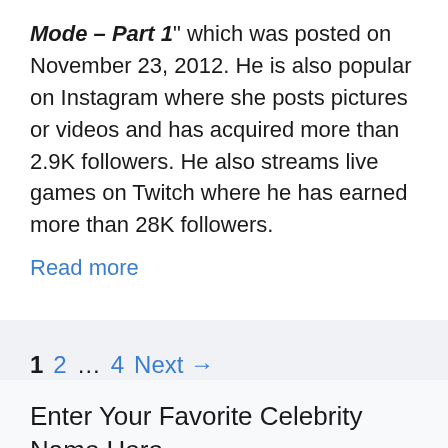Mode – Part 1" which was posted on November 23, 2012. He is also popular on Instagram where she posts pictures or videos and has acquired more than 2.9K followers. He also streams live games on Twitch where he has earned more than 28K followers.
Read more
1  2  …  4  Next →
Enter Your Favorite Celebrity Name Here